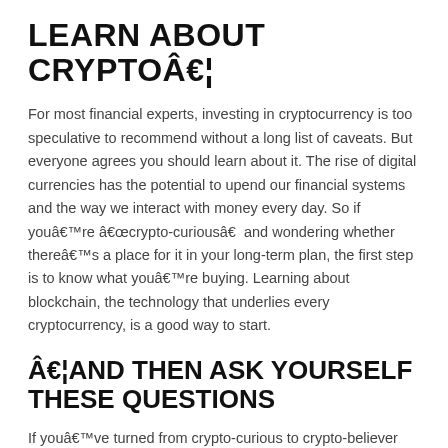LEARN ABOUT CRYPTOâ€¦
For most financial experts, investing in cryptocurrency is too speculative to recommend without a long list of caveats. But everyone agrees you should learn about it. The rise of digital currencies has the potential to upend our financial systems and the way we interact with money every day. So if youâ€™re â€œcrypto-curiousâ€  and wondering whether thereâ€™s a place for it in your long-term plan, the first step is to know what youâ€™re buying. Learning about blockchain, the technology that underlies every cryptocurrency, is a good way to start.
Â€¦AND THEN ASK YOURSELF THESE QUESTIONS
If youâ€™ve turned from crypto-curious to crypto-believer